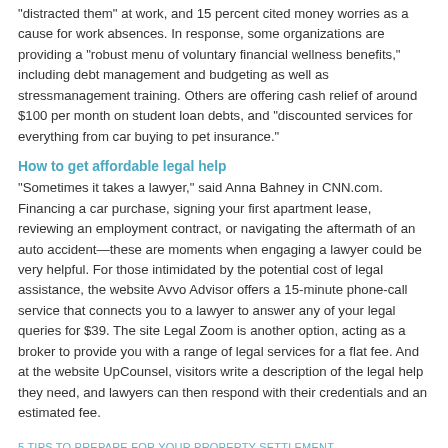“distracted them” at work, and 15 percent cited money worries as a cause for work absences. In response, some organizations are providing a “robust menu of voluntary financial wellness benefits,” including debt management and budgeting as well as stressmanagement training. Others are offering cash relief of around $100 per month on student loan debts, and “discounted services for everything from car buying to pet insurance.”
How to get affordable legal help
“Sometimes it takes a lawyer,” said Anna Bahney in CNN.com. Financing a car purchase, signing your first apartment lease, reviewing an employment contract, or navigating the aftermath of an auto accident—these are moments when engaging a lawyer could be very helpful. For those intimidated by the potential cost of legal assistance, the website Avvo Advisor offers a 15-minute phone-call service that connects you to a lawyer to answer any of your legal queries for $39. The site Legal Zoom is another option, acting as a broker to provide you with a range of legal services for a flat fee. And at the website UpCounsel, visitors write a description of the legal help they need, and lawyers can then respond with their credentials and an estimated fee.
5 TIPS TO PREPARE FOR YOUR PROPERTY SETTLEMENT
8 HABITS OF WEALTHY AND SUCCESSFUL PEOPLE
WHY MILLENNIALS CHOOSE TO BUY HOME
3 TIPS EVERY HOMEOWNER NEED TO KNOW ABOUT